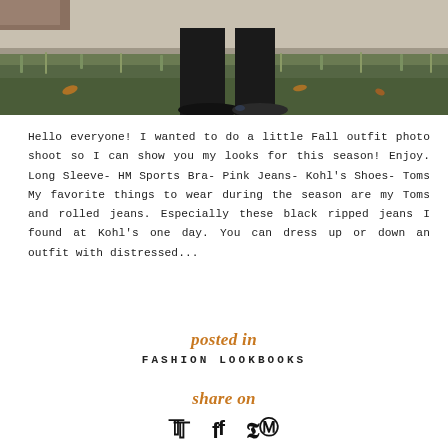[Figure (photo): Bottom portion of a fall outdoor photo shoot showing black jeans, dark shoes (Toms), grass, fallen leaves, and a concrete wall in the background.]
Hello everyone! I wanted to do a little Fall outfit photo shoot so I can show you my looks for this season! Enjoy. Long Sleeve- HM Sports Bra- Pink Jeans- Kohl's Shoes- Toms My favorite things to wear during the season are my Toms and rolled jeans. Especially these black ripped jeans I found at Kohl's one day. You can dress up or down an outfit with distressed...
posted in
FASHION LOOKBOOKS
share on